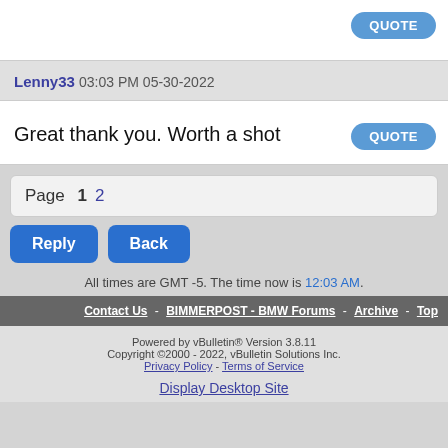QUOTE
Lenny33 03:03 PM 05-30-2022
Great thank you. Worth a shot
QUOTE
Page 1 2
Reply  Back
All times are GMT -5. The time now is 12:03 AM.
Contact Us - BIMMERPOST - BMW Forums - Archive - Top
Powered by vBulletin® Version 3.8.11 Copyright ©2000 - 2022, vBulletin Solutions Inc. Privacy Policy - Terms of Service
Display Desktop Site